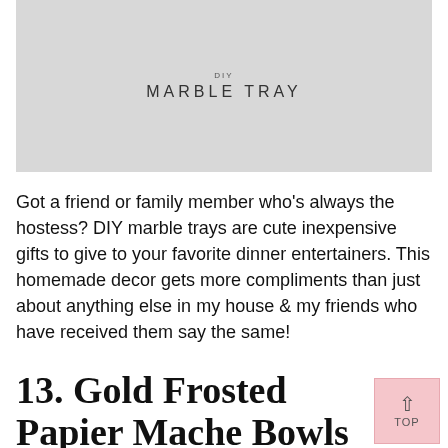[Figure (photo): A light grey photo placeholder showing 'DIY MARBLE TRAY' text centered within the image area]
Got a friend or family member who's always the hostess? DIY marble trays are cute inexpensive gifts to give to your favorite dinner entertainers. This homemade decor gets more compliments than just about anything else in my house & my friends who have received them say the same!
13. Gold Frosted Papier Mache Bowls